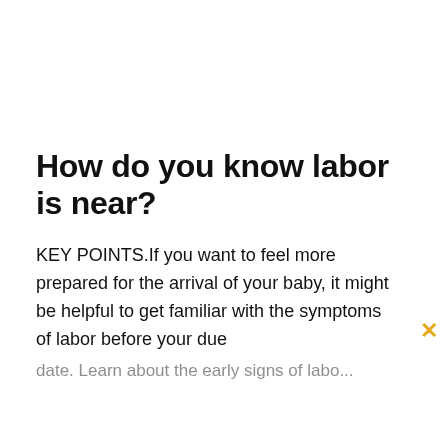How do you know labor is near?
KEY POINTS.If you want to feel more prepared for the arrival of your baby, it might be helpful to get familiar with the symptoms of labor before your due